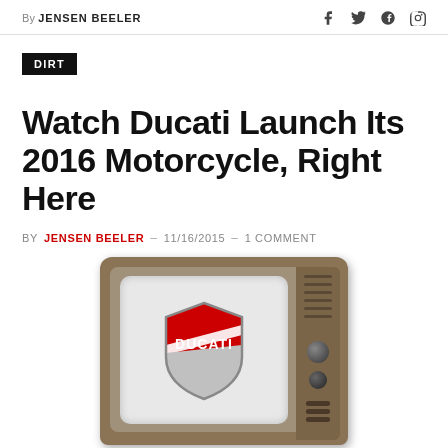By JENSEN BEELER
DIRT
Watch Ducati Launch Its 2016 Motorcycle, Right Here
BY JENSEN BEELER – 11/16/2015 – 1 COMMENT
[Figure (photo): Vintage television set displaying the Ducati logo on screen]